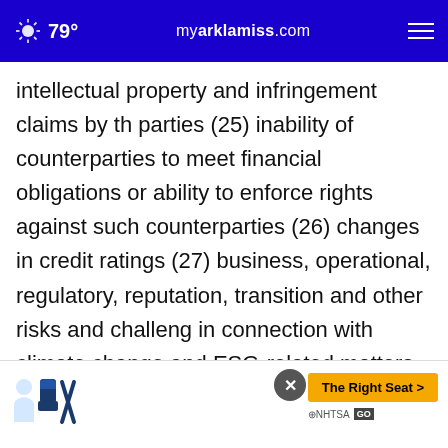79° myarklamiss.com
intellectual property and infringement claims by third parties (25) inability of counterparties to meet financial obligations or ability to enforce rights against such counterparties (26) changes in credit ratings (27) business, operational, regulatory, reputation, transition and other risks and challenges in connection with climate change and ESG-related matters (28) inability to attract and retain key personnel (29) future liabilities under defined benefit retirement plans (30) failure to manage business risks including use of
[Figure (other): NHTSA advertisement banner with car seat safety icons and 'The Right Seat >' call-to-action button]